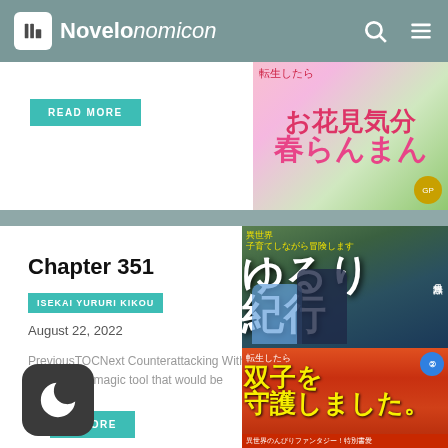Novelonomicon
[Figure (screenshot): Partial manga book cover with Japanese text お花見気分 春らんまん on pink/green background]
READ MORE
Chapter 351
ISEKAI YURURI KIKOU
August 22, 2022
PreviousTOCNext Counterattacking With Rewards "A magic tool that would be useful...
D MORE
[Figure (illustration): Manga book cover for Isekai Yururi Kikou featuring anime characters with blue hair and dark hair, plus a second book cover showing twins (双子) with Japanese text]